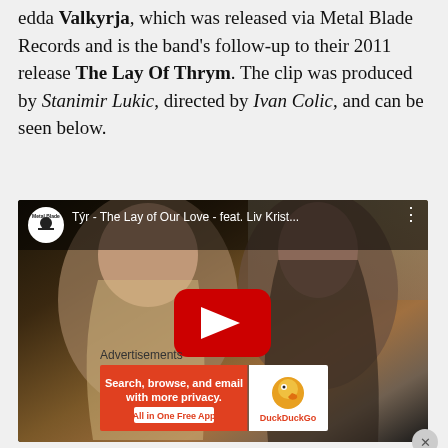edda Valkyrja, which was released via Metal Blade Records and is the band's follow-up to their 2011 release The Lay Of Thrym. The clip was produced by Stanimir Lukic, directed by Ivan Colic, and can be seen below.
[Figure (screenshot): YouTube video thumbnail showing 'Týr - The Lay of Our Love - feat. Liv Krist...' with Metal Blade Records logo, two people (blonde woman and long-haired man) visible, and a red play button in the center.]
Advertisements
[Figure (screenshot): DuckDuckGo advertisement banner: 'Search, browse, and email with more privacy. All in One Free App' with DuckDuckGo logo on orange/red and white background.]